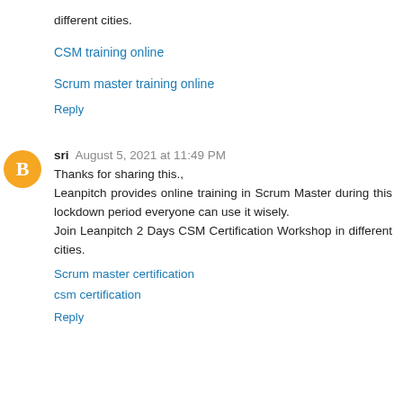different cities.
CSM training online
Scrum master training online
Reply
sri  August 5, 2021 at 11:49 PM
Thanks for sharing this., Leanpitch provides online training in Scrum Master during this lockdown period everyone can use it wisely. Join Leanpitch 2 Days CSM Certification Workshop in different cities.
Scrum master certification
csm certification
Reply